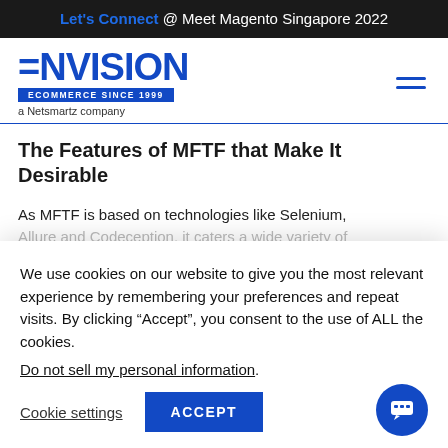Let's Connect @ Meet Magento Singapore 2022
[Figure (logo): Envision eCommerce logo — stylized blue text 'ENVISION' with a blue bar 'ECOMMERCE SINCE 1999' and tagline 'a Netsmartz company']
The Features of MFTF that Make It Desirable
As MFTF is based on technologies like Selenium, Allure and Codeception, it caters a wide variety of
We use cookies on our website to give you the most relevant experience by remembering your preferences and repeat visits. By clicking “Accept”, you consent to the use of ALL the cookies.
Do not sell my personal information.
Cookie settings   ACCEPT